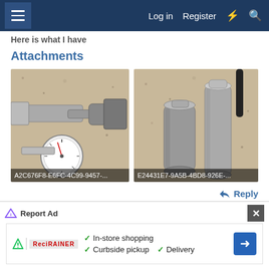Log in  Register
Here is what I have
Attachments
[Figure (photo): Photo of a dial caliper measuring a metal rod/shaft on a granite surface. Filename: A2C676F8-E6FC-4C99-9457-...]
[Figure (photo): Photo of two metal cylindrical parts (possibly fuel injectors or similar components) on a granite surface. Filename: E24431E7-9A5B-4BD8-926E-...]
Reply
Wasted wages
Report Ad
In-store shopping  Curbside pickup  Delivery